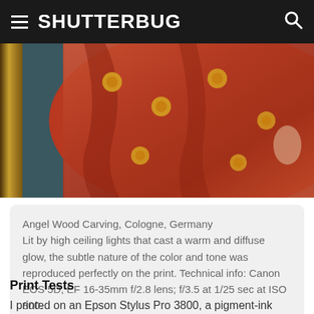SHUTTERBUG
[Figure (photo): Close-up photograph of an Angel Wood Carving from Cologne, Germany. The carving depicts a figure in red and orange robes decorated with golden fleur-de-lis motifs, with a golden ornate frame visible on the left side. Lit by warm, diffuse ceiling lights.]
Angel Wood Carving, Cologne, Germany
Lit by high ceiling lights that cast a warm and diffuse glow, the subtle nature of the color and tone was reproduced perfectly on the print. Technical info: Canon EOS 5D, EF 16-35mm f/2.8 lens; f/3.5 at 1/25 sec at ISO 800.
Print Tests
I printed on an Epson Stylus Pro 3800, a pigment-ink